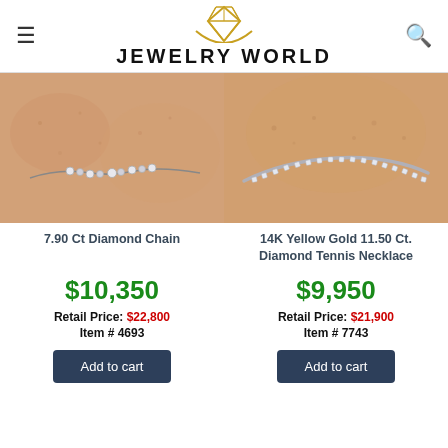JEWELRY WORLD
[Figure (photo): Close-up photo of a diamond chain necklace worn on a person's neck against skin]
[Figure (photo): Close-up photo of a 14K yellow gold diamond tennis necklace worn on a person's neck against skin]
7.90 Ct Diamond Chain
14K Yellow Gold 11.50 Ct. Diamond Tennis Necklace
$10,350
$9,950
Retail Price: $22,800
Item # 4693
Retail Price: $21,900
Item # 7743
Add to cart
Add to cart